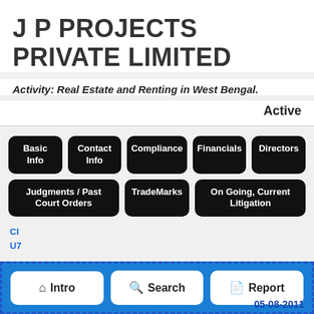J P PROJECTS PRIVATE LIMITED
Activity: Real Estate and Renting in West Bengal.
Active
Basic Info
Contact Info
Compliance
Financials
Directors
Judgments / Past Court Orders
TradeMarks
On Going, Current Litigation
CIN
U7...
05-08-2011
Intro
Search
Report